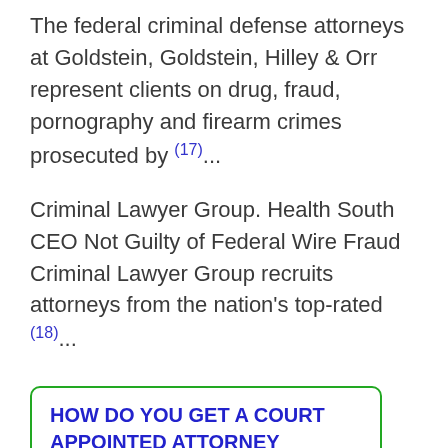The federal criminal defense attorneys at Goldstein, Goldstein, Hilley & Orr represent clients on drug, fraud, pornography and firearm crimes prosecuted by (17)...
Criminal Lawyer Group. Health South CEO Not Guilty of Federal Wire Fraud Criminal Lawyer Group recruits attorneys from the nation's top-rated (18)...
HOW DO YOU GET A COURT APPOINTED ATTORNEY